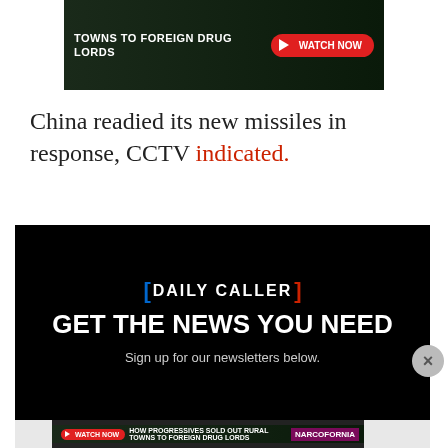[Figure (screenshot): Advertisement banner showing cannabis leaves with text 'TOWNS TO FOREIGN DRUG LORDS' and a red 'WATCH NOW' button]
China readied its new missiles in response, CCTV indicated.
[Figure (screenshot): Daily Caller newsletter signup block with black background. Logo says 'DAILY CALLER' with blue and red brackets. Text: 'GET THE NEWS YOU NEED' and 'Sign up for our newsletters below.']
[Figure (screenshot): Bottom advertisement for Narcofornia: 'HOW PROGRESSIVES SOLD OUT RURAL TOWNS TO FOREIGN DRUG LORDS' with WATCH NOW button]